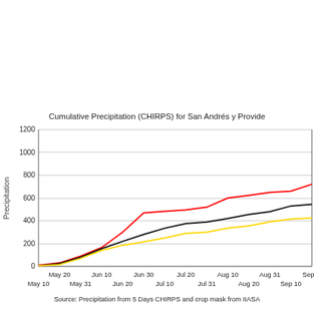[Figure (line-chart): Cumulative Precipitation (CHIRPS) for San Andrés y Provide]
Source: Precipitation from 5 Days CHIRPS and crop mask from IIASA